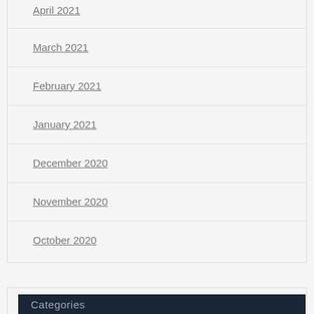April 2021
March 2021
February 2021
January 2021
December 2020
November 2020
October 2020
Categories